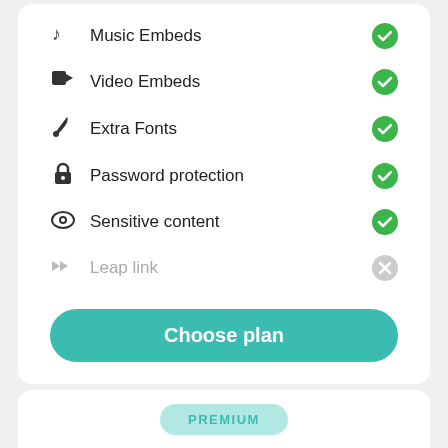Music Embeds ✓
Video Embeds ✓
Extra Fonts ✓
Password protection ✓
Sensitive content ✓
Leap link ✗
Choose plan
PREMIUM